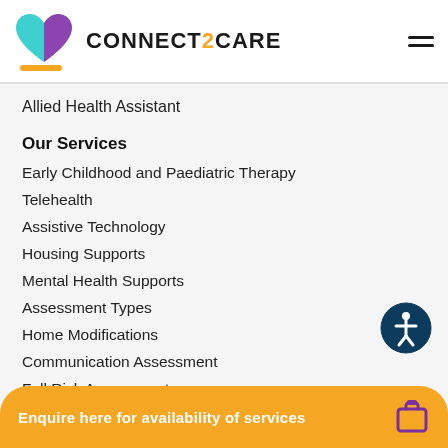[Figure (logo): Connect2Care logo with heart shape in teal and purple, and orange underline accent]
Allied Health Assistant
Our Services
Early Childhood and Paediatric Therapy
Telehealth
Assistive Technology
Housing Supports
Mental Health Supports
Assessment Types
Home Modifications
Communication Assessment
Fall Risk Assessment
Enquire here for availability of services